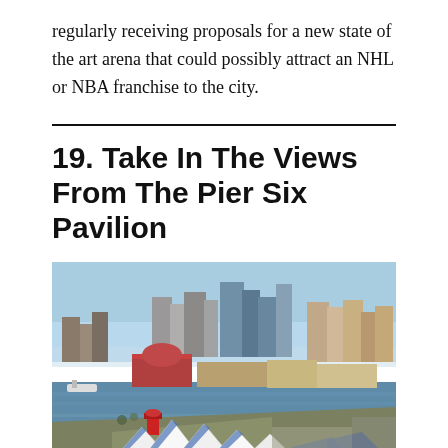regularly receiving proposals for a new state of the art arena that could possibly attract an NHL or NBA franchise to the city.
19. Take In The Views From The Pier Six Pavilion
[Figure (photo): Aerial photograph of the Baltimore Inner Harbor skyline with the Pier Six Pavilion's distinctive white tent structure in the foreground, water surrounding the pier, and downtown Baltimore skyscrapers in the background under a blue sky.]